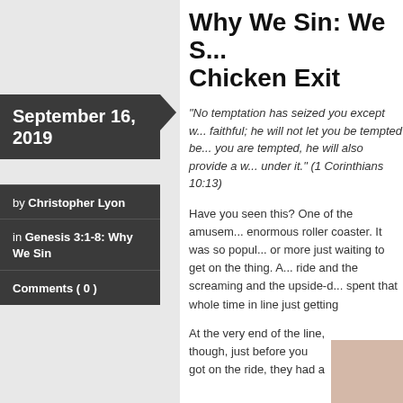September 16, 2019
by Christopher Lyon
in Genesis 3:1-8: Why We Sin
Comments ( 0 )
Why We Sin: We S... Chicken Exit
“No temptation has seized you except w... faithful; he will not let you be tempted be... you are tempted, he will also provide a w... under it.” (1 Corinthians 10:13)
Have you seen this? One of the amusem... enormous roller coaster. It was so popul... or more just waiting to get on the thing. A... ride and the screaming and the upside-d... spent that whole time in line just getting
At the very end of the line, though, just before you got on the ride, they had a